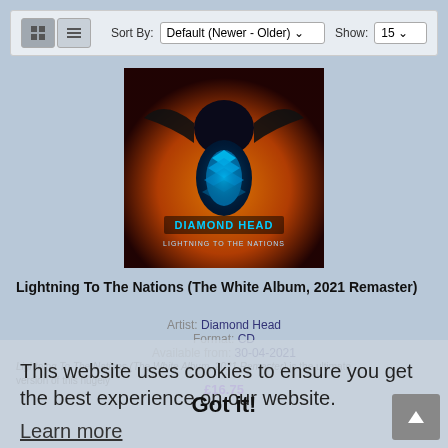[Figure (screenshot): Web store toolbar with view toggle icons (grid/list), Sort By dropdown set to 'Default (Newer - Older)', and Show dropdown set to '15']
[Figure (photo): Album cover art for Diamond Head - Lightning to the Nations showing a dark fantasy creature with blue glowing chest against fire background]
Lightning To The Nations (The White Album, 2021 Remaster)
Artist: Diamond Head
Format: CD
Available from: 30-04-2021
Lightning To The Nations (The White Album, 2021 Remaster) is the ultimate version of this hugely
£16.75
This website uses cookies to ensure you get the best experience on our website.
Learn more
Got it!